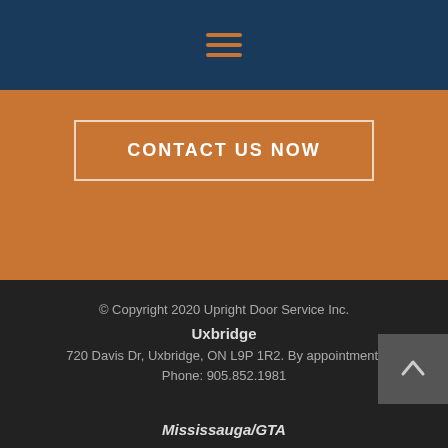[Figure (other): Navigation bar with hamburger menu icon (three horizontal orange lines) on dark navy blue background]
CONTACT US NOW
© Copyright 2020 Upright Door Service Inc.
Uxbridge
720 Davis Dr, Uxbridge, ON L9P 1R2. By appointment.
Phone: 905.852.1981
Mississauga/GTA